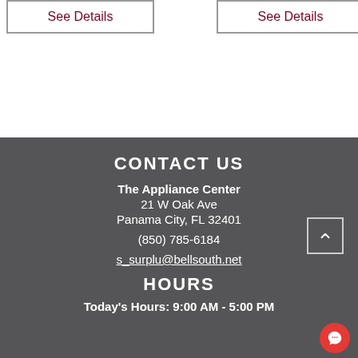See Details
See Details
CONTACT US
The Appliance Center
21 W Oak Ave
Panama City, FL 32401
(850) 785-6184
s_surplu@bellsouth.net
HOURS
Today's Hours: 9:00 AM - 5:00 PM